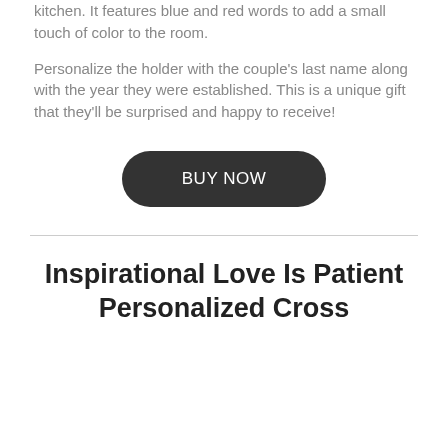kitchen. It features blue and red words to add a small touch of color to the room.
Personalize the holder with the couple’s last name along with the year they were established. This is a unique gift that they’ll be surprised and happy to receive!
BUY NOW
Inspirational Love Is Patient Personalized Cross